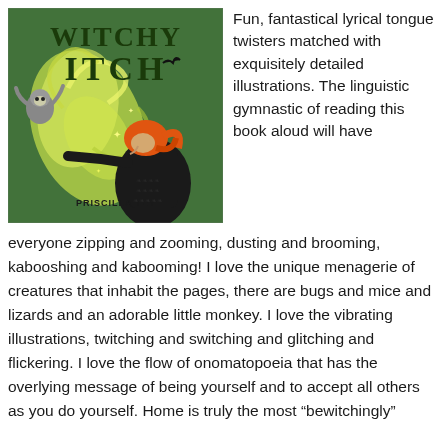[Figure (illustration): Book cover of 'Witchy Itch' by Priscilla Tey, showing a witch with orange hair and black dress reaching out, with a monkey, sparkles, and green swirling smoke on a green background.]
Fun, fantastical lyrical tongue twisters matched with exquisitely detailed illustrations. The linguistic gymnastic of reading this book aloud will have everyone zipping and zooming, dusting and brooming, kabooshing and kabooming! I love the unique menagerie of creatures that inhabit the pages, there are bugs and mice and lizards and an adorable little monkey. I love the vibrating illustrations, twitching and switching and glitching and flickering. I love the flow of onomatopoeia that has the overlying message of being yourself and to accept all others as you do yourself. Home is truly the most “bewitchingly”